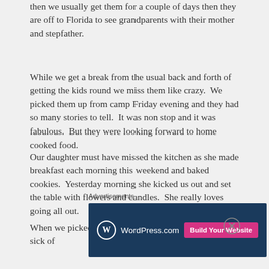then we usually get them for a couple of days then they are off to Florida to see grandparents with their mother and stepfather.
While we get a break from the usual back and forth of getting the kids round we miss them like crazy.  We picked them up from camp Friday evening and they had so many stories to tell.  It was non stop and it was fabulous.  But they were looking forward to home cooked food.
Our daughter must have missed the kitchen as she made breakfast each morning this weekend and baked cookies.  Yesterday morning she kicked us out and set the table with flowers and candles.  She really loves going all out.
When we picked them up they mentioned they were sick of
Advertisements
[Figure (other): WordPress.com advertisement banner with blue background, WordPress logo, and pink 'Build Your Website' button]